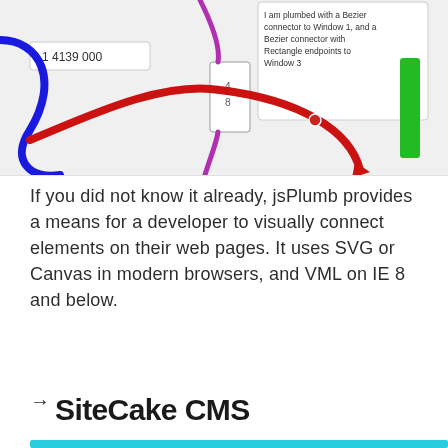[Figure (screenshot): A jsPlumb demo screenshot showing colored connector lines (blue, red, purple, green) connecting UI elements, with a tooltip box reading 'I am plumbed with a Bezier connector to Window 1, and a Bezier connector with Rectangle endpoints to Window 3', and a label showing '1.4139 000'.]
If you did not know it already, jsPlumb provides a means for a developer to visually connect elements on their web pages. It uses SVG or Canvas in modern browsers, and VML on IE 8 and below.
→
SiteCake CMS